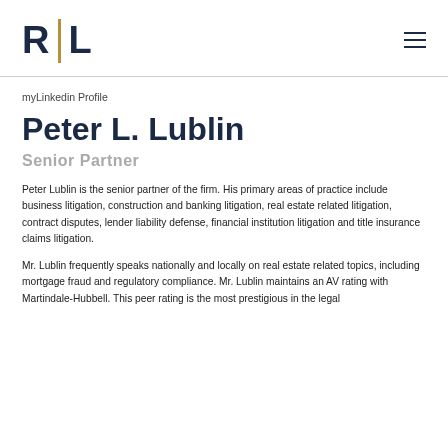R | L (logo)
myLinkedin Profile
Peter L. Lublin
Senior Partner
Peter Lublin is the senior partner of the firm. His primary areas of practice include business litigation, construction and banking litigation, real estate related litigation, contract disputes, lender liability defense, financial institution litigation and title insurance claims litigation.
Mr. Lublin frequently speaks nationally and locally on real estate related topics, including mortgage fraud and regulatory compliance. Mr. Lublin maintains an AV rating with Martindale-Hubbell. This peer rating is the most prestigious in the legal